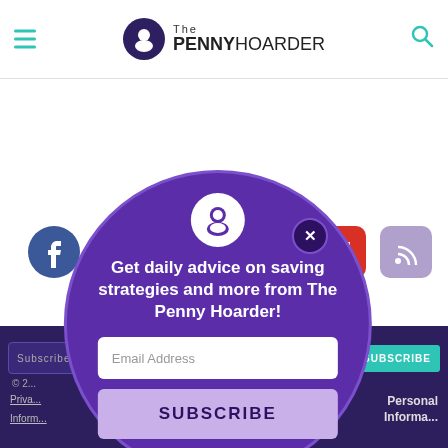The Penny Hoarder
CONTACT US
[Figure (screenshot): Website screenshot showing The Penny Hoarder contact page with social media icons (Facebook, newsletter, messenger, RSS) and a modal popup overlay with email subscription form. Modal contains Penny Hoarder logo icon, text 'Get daily advice on saving strategies and more from The Penny Hoarder!', email address input field, and SUBSCRIBE button. A close (X) button appears on the modal. Footer area shows dark purple background with Privacy link and Personal Information link, plus a SUBSCRIBE button.]
Get daily advice on saving strategies and more from The Penny Hoarder!
Email Address
SUBSCRIBE
SUBSCRIBE
Personal Information